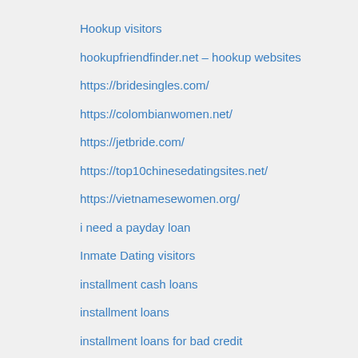Hookup visitors
hookupfriendfinder.net – hookup websites
https://bridesingles.com/
https://colombianwomen.net/
https://jetbride.com/
https://top10chinesedatingsites.net/
https://vietnamesewomen.org/
i need a payday loan
Inmate Dating visitors
installment cash loans
installment loans
installment loans for bad credit
installment loans instant approval
installment loans no credit
installment loans no credit check